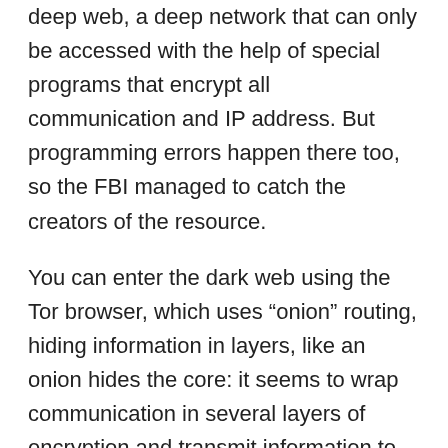deep web, a deep network that can only be accessed with the help of special programs that encrypt all communication and IP address. But programming errors happen there too, so the FBI managed to catch the creators of the resource.
You can enter the dark web using the Tor browser, which uses “onion” routing, hiding information in layers, like an onion hides the core: it seems to wrap communication in several layers of encryption and transmit information to many computers in the network, each of the nodes of which “knows” only previous and next step. This makes tracking on the dark web nearly impossible. Tor is a modified version of Mozilla Firefox, so it can be used as a regular browser.
There are also absolutely legal ways to use the darknet,